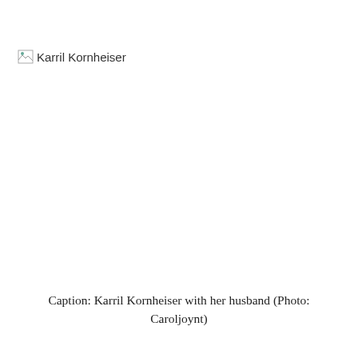[Figure (photo): Broken image placeholder labeled 'Karril Kornheiser']
Caption: Karril Kornheiser with her husband (Photo: Caroljoynt)